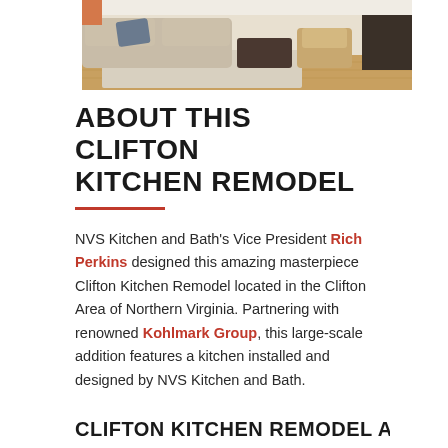[Figure (photo): Interior photo of a living room with beige sofa, blue accent pillow, brown leather chair, light hardwood floors, and area rug]
ABOUT THIS CLIFTON KITCHEN REMODEL
NVS Kitchen and Bath's Vice President Rich Perkins designed this amazing masterpiece Clifton Kitchen Remodel located in the Clifton Area of Northern Virginia. Partnering with renowned Kohlmark Group, this large-scale addition features a kitchen installed and designed by NVS Kitchen and Bath.
CLIFTON KITCHEN REMODEL AT A